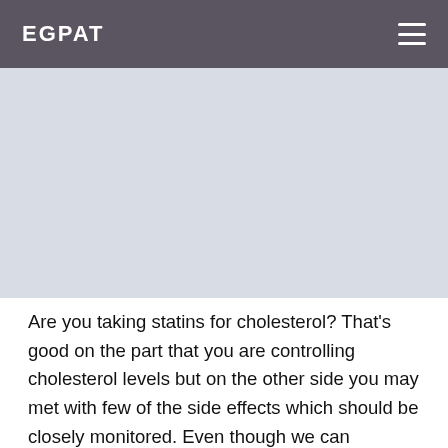EGPAT
[Figure (other): Advertisement or banner area, light gray placeholder block]
Are you taking statins for cholesterol? That’s good on the part that you are controlling cholesterol levels but on the other side you may met with few of the side effects which should be closely monitored. Even though we can observe very few side effects of statins used for high cholesterol